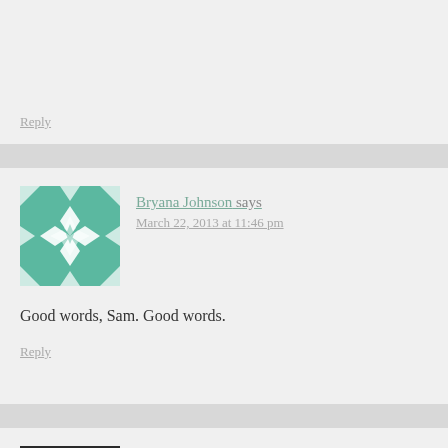Reply
Bryana Johnson says
March 22, 2013 at 11:46 pm
Good words, Sam. Good words.
Reply
Annie Wald says
March 24, 2013 at 3:55 am
Amen and amen.